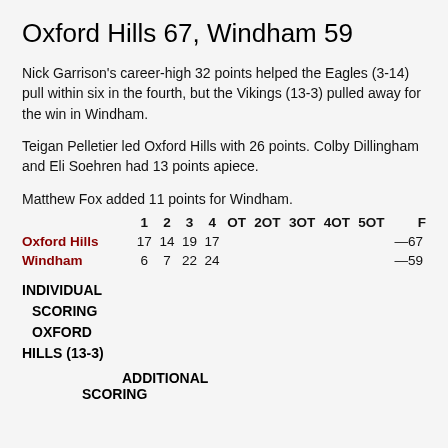Oxford Hills 67, Windham 59
Nick Garrison's career-high 32 points helped the Eagles (3-14) pull within six in the fourth, but the Vikings (13-3) pulled away for the win in Windham.
Teigan Pelletier led Oxford Hills with 26 points. Colby Dillingham and Eli Soehren had 13 points apiece.
Matthew Fox added 11 points for Windham.
|  | 1 | 2 | 3 | 4 | OT | 2OT | 3OT | 4OT | 5OT | F |
| --- | --- | --- | --- | --- | --- | --- | --- | --- | --- | --- |
| Oxford Hills | 17 | 14 | 19 | 17 |  |  |  |  |  | —67 |
| Windham | 6 | 7 | 22 | 24 |  |  |  |  |  | —59 |
INDIVIDUAL SCORING
  SCORING
  OXFORD
HILLS (13-3)
ADDITIONAL SCORING